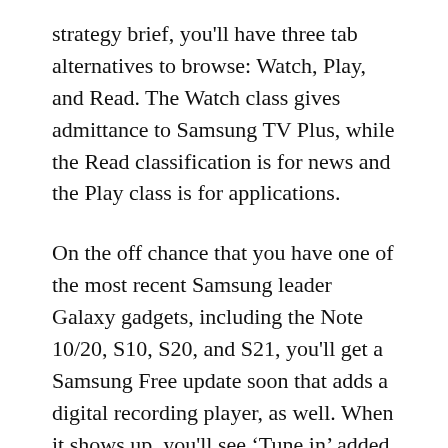strategy brief, you'll have three tab alternatives to browse: Watch, Play, and Read. The Watch class gives admittance to Samsung TV Plus, while the Read classification is for news and the Play class is for applications.
On the off chance that you have one of the most recent Samsung leader Galaxy gadgets, including the Note 10/20, S10, S20, and S21, you'll get a Samsung Free update soon that adds a digital recording player, as well. When it shows up, you'll see ‘Tune in’ added to the previously mentioned menu.
Whenever you’re signed into your Samsung account, you’ll have the option to tune in to